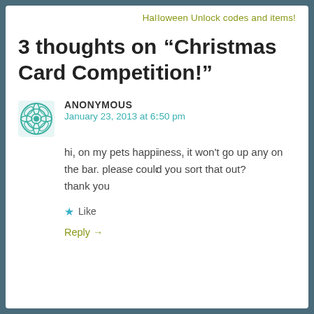Halloween Unlock codes and items!
3 thoughts on “Christmas Card Competition!”
ANONYMOUS
January 23, 2013 at 6:50 pm
hi, on my pets happiness, it won't go up any on the bar. please could you sort that out?
thank you
Like
Reply →